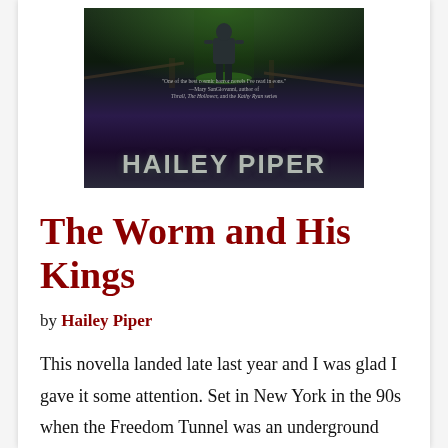[Figure (illustration): Book cover for 'The Worm and His Kings' by Hailey Piper. Dark atmospheric cover showing a figure standing in a green-lit forest or tunnel. Quote reads: 'One of the best cosmic horror novels I've read in eons.' —Mary SanGiovanni, author of Thrall, The Hollower, and the Kathy Ryan series. Author name HAILEY PIPER in large gray letters at bottom.]
The Worm and His Kings
by Hailey Piper
This novella landed late last year and I was glad I gave it some attention. Set in New York in the 90s when the Freedom Tunnel was an underground homeless encampment Piper weaves a unique